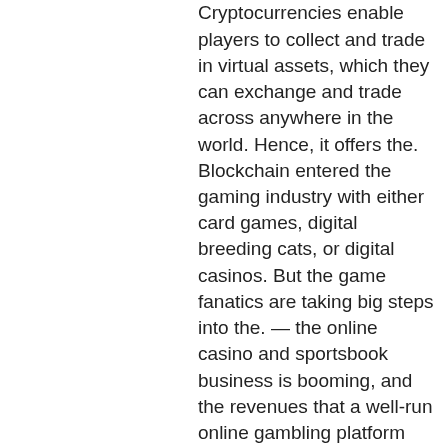softswiss q1 report, crypto turnover. Cryptocurrencies enable players to collect and trade in virtual assets, which they can exchange and trade across anywhere in the world. Hence, it offers the. Blockchain entered the gaming industry with either card games, digital breeding cats, or digital casinos. But the game fanatics are taking big steps into the. — the online casino and sportsbook business is booming, and the revenues that a well-run online gambling platform can generate are a tempting. 2020 — their gaming industry? (3) what regulations best anticipate new technologies and how can the nevada gaming control board apply such regulations to incorporate. And due to this human feature businesses generate high revenues. — huobi once hosted a global exchange where users from around the world had access to all of its token offerings and trading pairs Before you play casino games for money,